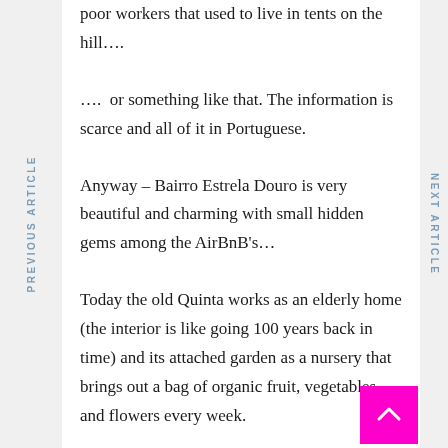poor workers that used to live in tents on the hill….
….  or something like that. The information is scarce and all of it in Portuguese.
Anyway – Bairro Estrela Douro is very beautiful and charming with small hidden gems among the AirBnB's…
Today the old Quinta works as an elderly home (the interior is like going 100 years back in time) and its attached garden as a nursery that brings out a bag of organic fruit, vegetables and flowers every week.